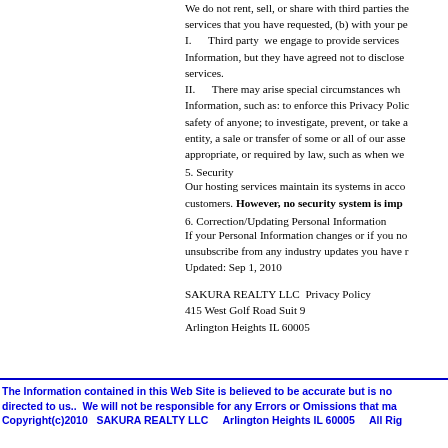We do not rent, sell, or share with third parties the services that you have requested, (b) with your pe I. Third party we engage to provide services Information, but they have agreed not to disclose services.
I. Third party we engage to provide services Information, but they have agreed not to disclose services.
II. There may arise special circumstances wh Information, such as: to enforce this Privacy Polic safety of anyone; to investigate, prevent, or take a entity, a sale or transfer of some or all of our asse appropriate, or required by law, such as when we
5. Security
Our hosting services maintain its systems in acco customers. However, no security system is imp
6. Correction/Updating Personal Information
If your Personal Information changes or if you no unsubscribe from any industry updates you have r Updated: Sep 1, 2010
SAKURA REALTY LLC  Privacy Policy
415 West Golf Road Suit 9
Arlington Heights IL 60005
The Information contained in this Web Site is believed to be accurate but is no directed to us..  We will not be responsible for any Errors or Omissions that ma Copyright(c)2010   SAKURA REALTY LLC     Arlington Heights IL 60005     All Rig